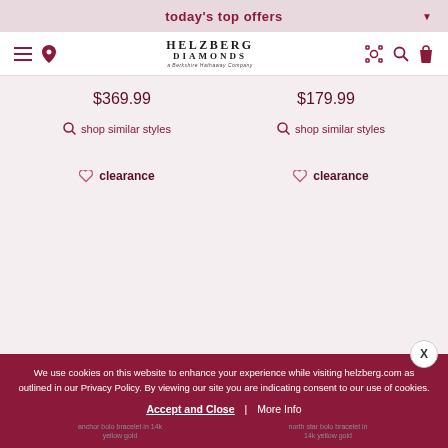today's top offers
[Figure (logo): Helzberg Diamonds logo with tagline 'a Berkshire Hathaway Company']
$369.99
$179.99
shop similar styles
shop similar styles
clearance
clearance
We use cookies on this website to enhance your experience while visiting helzberg.com as outlined in our Privacy Policy. By viewing our site you are indicating consent to our use of cookies.
Accept and Close | More Info
anchor bolo bracelet in 14k yellow gold
north star bolo bracelet in 14k yellow gold